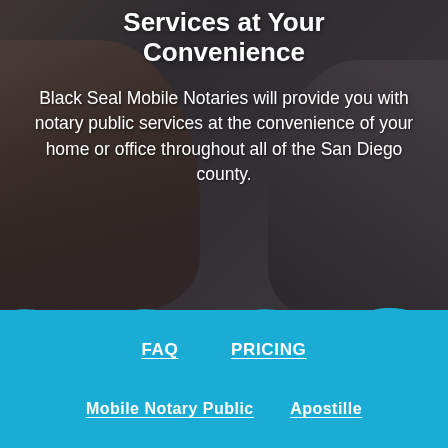Services at Your Convenience
Black Seal Mobile Notaries will provide you with notary public services at the convenience of your home or office throughout all of the San Diego county.
FAQ
PRICING
Mobile Notary Public
Apostille